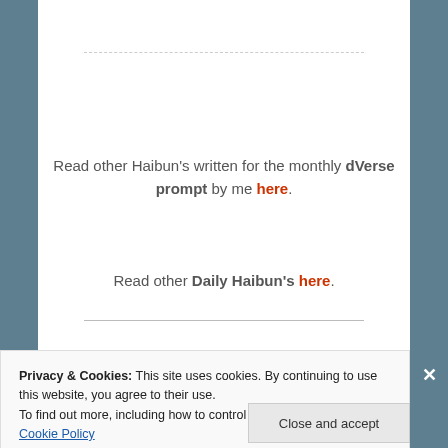Read other Haibun's written for the monthly dVerse prompt by me here.
Read other Daily Haibun's here.
Privacy & Cookies: This site uses cookies. By continuing to use this website, you agree to their use.
To find out more, including how to control cookies, see here: Cookie Policy
Close and accept